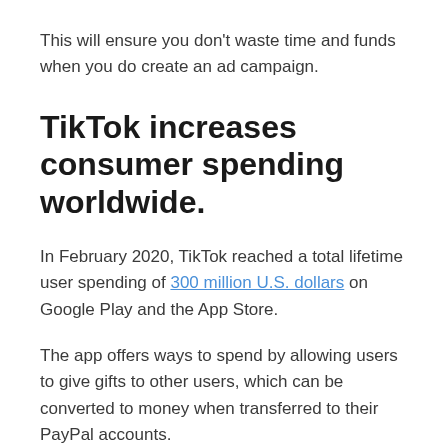This will ensure you don't waste time and funds when you do create an ad campaign.
TikTok increases consumer spending worldwide.
In February 2020, TikTok reached a total lifetime user spending of 300 million U.S. dollars on Google Play and the App Store.
The app offers ways to spend by allowing users to give gifts to other users, which can be converted to money when transferred to their PayPal accounts.